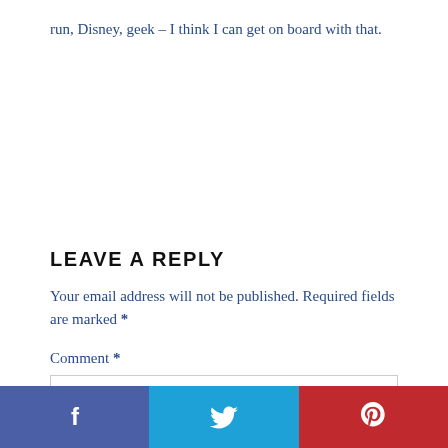run, Disney, geek – I think I can get on board with that.
LEAVE A REPLY
Your email address will not be published. Required fields are marked *
Comment *